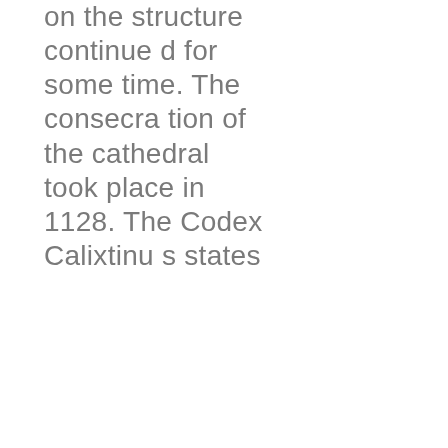on the structure continued for some time. The consecration of the cathedral took place in 1128. The Codex Calixtinus states